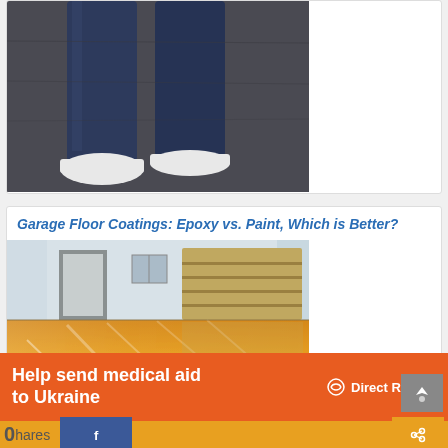[Figure (photo): Person standing on dark carpet/floor, lower legs and feet visible wearing white shoe covers, jeans]
Garage Floor Coatings: Epoxy vs. Paint, Which is Better?
[Figure (photo): Garage interior with shiny orange/yellow epoxy coated floor, garage door and entry door visible]
Help send medical aid to Ukraine
[Figure (logo): Direct Relief logo with wing icon]
0 hares